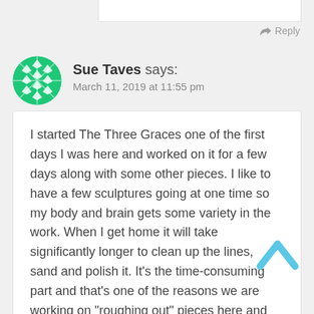Reply
Sue Taves says:
March 11, 2019 at 11:55 pm
I started The Three Graces one of the first days I was here and worked on it for a few days along with some other pieces. I like to have a few sculptures going at one time so my body and brain gets some variety in the work. When I get home it will take significantly longer to clean up the lines, sand and polish it. It's the time-consuming part and that's one of the reasons we are working on "roughing out" pieces here and not taking the time to finish them (the other reason